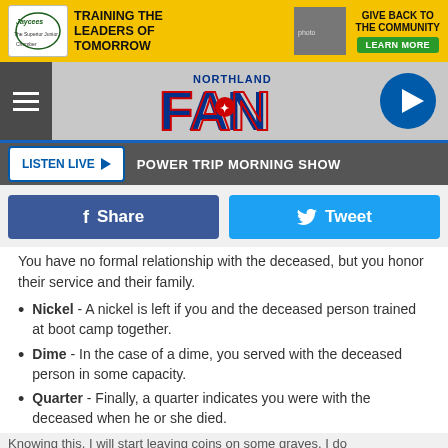[Figure (screenshot): Jaycees advertisement banner - Training the Leaders of Tomorrow, Give Back to the Community, Learn More button]
[Figure (logo): Northland FAN radio station logo with navigation bar, hamburger menu, and play button]
LISTEN LIVE ▶  POWER TRIP MORNING SHOW
[Figure (screenshot): Facebook Share and Twitter Tweet buttons]
You have no formal relationship with the deceased, but you honor their service and their family.
Nickel - A nickel is left if you and the deceased person trained at boot camp together.
Dime - In the case of a dime, you served with the deceased person in some capacity.
Quarter - Finally, a quarter indicates you were with the deceased when he or she died.
Knowing this, I will start leaving coins on some graves. I do
[Figure (screenshot): Jaycees advertisement banner - Training the Leaders of Tomorrow, Give Back to the Community, Learn More button (bottom)]